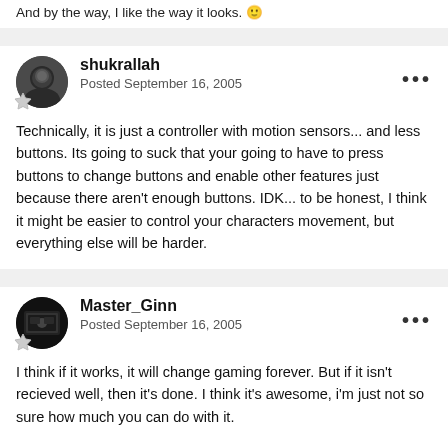And by the way, I like the way it looks. 😊
shukrallah
Posted September 16, 2005

Technically, it is just a controller with motion sensors... and less buttons. Its going to suck that your going to have to press buttons to change buttons and enable other features just because there aren't enough buttons. IDK... to be honest, I think it might be easier to control your characters movement, but everything else will be harder.
Master_Ginn
Posted September 16, 2005

I think if it works, it will change gaming forever. But if it isn't recieved well, then it's done. I think it's awesome, i'm just not so sure how much you can do with it.